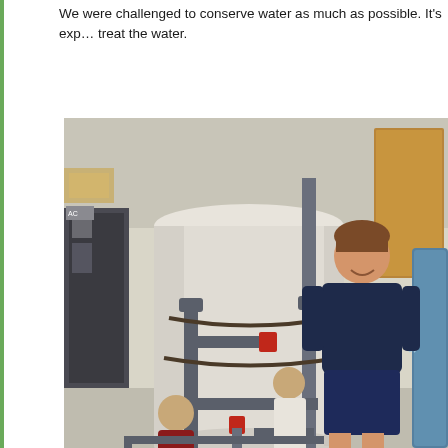We were challenged to conserve water as much as possible. It's exp... treat the water.
[Figure (photo): A woman in a navy t-shirt and navy shorts smiles and stands next to a large white water treatment tank with grey PVC pipes and red valve handles in an indoor facility. Two other people are visible in the background near the equipment.]